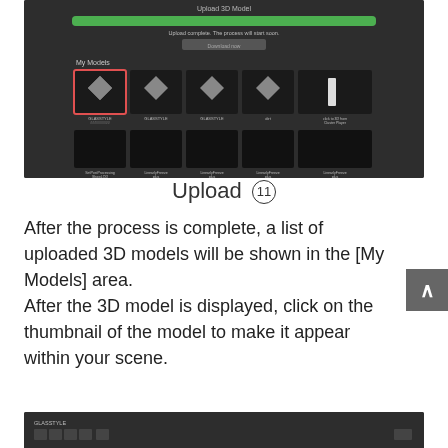[Figure (screenshot): Screenshot of a 3D model upload interface showing a dark UI with a green progress bar indicating upload complete, and a grid of 3D model thumbnails in the 'My Models' area including diamond-shaped objects, black squares, and geometric shapes.]
Upload ⑪
After the process is complete, a list of uploaded 3D models will be shown in the [My Models] area.
After the 3D model is displayed, click on the thumbnail of the model to make it appear within your scene.
[Figure (screenshot): Partial screenshot of the bottom portion of a 3D software interface toolbar.]